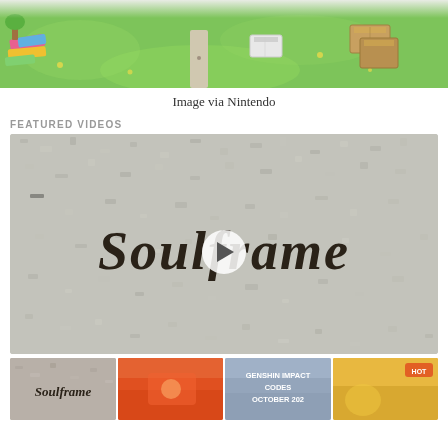[Figure (photo): Top portion of a colorful Nintendo Animal Crossing style game screenshot showing green grass, colorful items, and wooden furniture/boxes viewed from above.]
Image via Nintendo
FEATURED VIDEOS
[Figure (screenshot): Video thumbnail showing 'Soulframe' title in gothic/blackletter font on a stone/granite textured background with a play button overlay.]
[Figure (photo): Row of four small video thumbnails at the bottom: Soulframe logo thumbnail, orange/red game thumbnail, Genshin Impact Codes October 202X thumbnail, and another game thumbnail.]